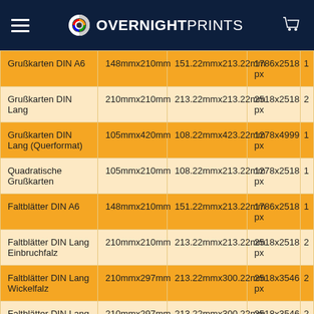OVERNIGHT PRINTS
| Produkt | Format | Format mit Beschnitt | Pixel |  |
| --- | --- | --- | --- | --- |
| Grußkarten DIN A6 | 148mmx210mm | 151.22mmx213.22mm | 1786x2518 px | 1 |
| Grußkarten DIN Lang | 210mmx210mm | 213.22mmx213.22mm | 2518x2518 px | 2 |
| Grußkarten DIN Lang (Querformat) | 105mmx420mm | 108.22mmx423.22mm | 1278x4999 px | 1 |
| Quadratische Grußkarten | 105mmx210mm | 108.22mmx213.22mm | 1278x2518 px | 1 |
| Faltblätter DIN A6 | 148mmx210mm | 151.22mmx213.22mm | 1786x2518 px | 1 |
| Faltblätter DIN Lang Einbruchfalz | 210mmx210mm | 213.22mmx213.22mm | 2518x2518 px | 2 |
| Faltblätter DIN Lang Wickelfalz | 210mmx297mm | 213.22mmx300.22mm | 2518x3546 px | 2 |
| Faltblätter DIN Lang Zick-Zack-Falz | 210mmx297mm | 213.22mmx300.22mm | 2518x3546 px | 2 |
|  |  |  | 2518x3546 |  |